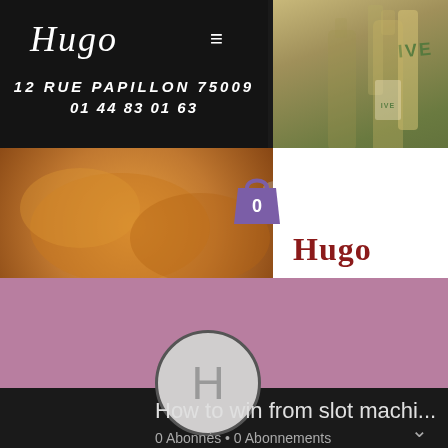[Figure (screenshot): Restaurant Hugo website screenshot overlay on a dark background. Top left shows dark header with script logo 'Hugo' and hamburger menu. Below address '12 RUE PAPILLON 75009' and phone '01 44 83 01 63'. Center shows food photo with shopping bag icon showing 0 items. Right side shows wine bottles photo and white card with red 'Hugo' text. Purple band below with 'S'abonner' subscribe button. Dark section at bottom with channel avatar 'H', title 'How to win from slot machi...' and '0 Abonnés • 0 Abonnements'.]
Hugo
12 RUE PAPILLON 75009
01 44 83 01 63
S'abonner
H
How to win from slot machi...
0 Abonnés • 0 Abonnements